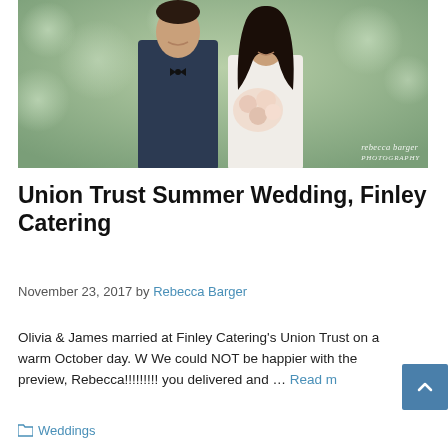[Figure (photo): Wedding photo of a couple — groom in dark suit with bow tie and bride in white dress holding a bouquet, posed together outdoors with soft green bokeh background. Watermark reads 'rebecca barger photography' in bottom right.]
Union Trust Summer Wedding, Finley Catering
November 23, 2017 by Rebecca Barger
Olivia & James married at Finley Catering's Union Trust on a warm October day. W We could NOT be happier with the preview, Rebecca!!!!!!!!! you delivered and … Read m
Weddings